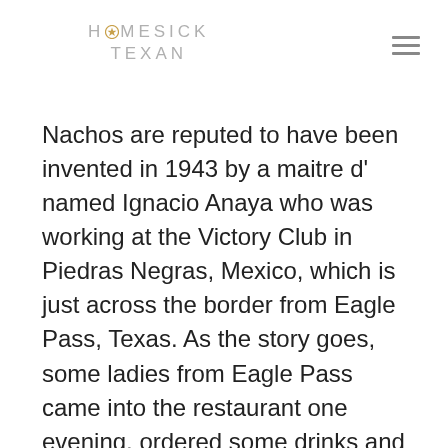HOMESICK TEXAN
Nachos are reputed to have been invented in 1943 by a maitre d' named Ignacio Anaya who was working at the Victory Club in Piedras Negras, Mexico, which is just across the border from Eagle Pass, Texas. As the story goes, some ladies from Eagle Pass came into the restaurant one evening, ordered some drinks and wanted some snacks. The kitchen was already closed, so Anaya melted some Longhorn cheddar on some tortilla chips and garnished each chip with a jalapeno slice. He presented them to the ladies calling his improvised appetizer